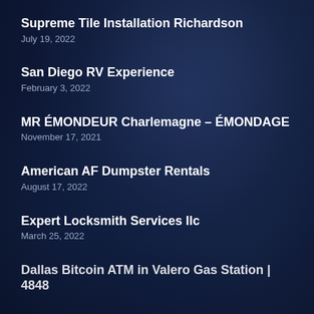Supreme Tile Installation Richardson
July 19, 2022
San Diego RV Experience
February 3, 2022
MR ÉMONDEUR Charlemagne – ÉMONDAGE
November 17, 2021
American AF Dumpster Rentals
August 17, 2022
Expert Locksmith Services llc
March 25, 2022
Dallas Bitcoin ATM in Valero Gas Station | 4848…